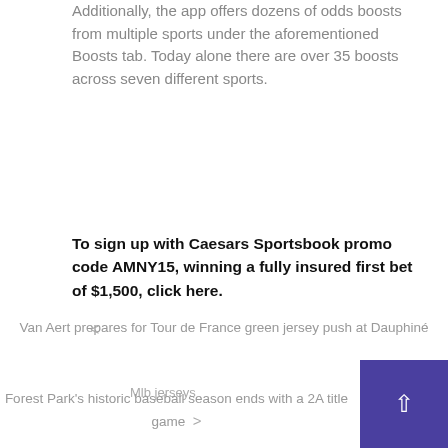Additionally, the app offers dozens of odds boosts from multiple sports under the aforementioned Boosts tab. Today alone there are over 35 boosts across seven different sports.
To sign up with Caesars Sportsbook promo code AMNY15, winning a fully insured first bet of $1,500, click here.
Mlb jerseys
< Van Aert prepares for Tour de France green jersey push at Dauphiné
Forest Park's historic baseball season ends with a 2A title game >